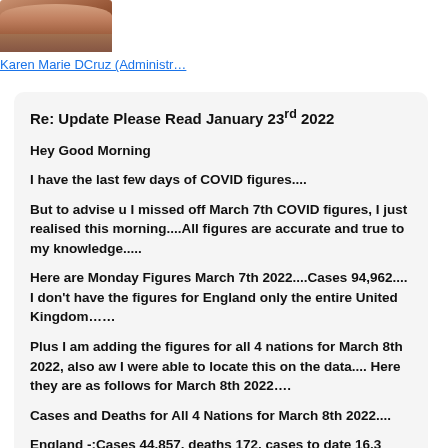[Figure (photo): Small avatar/profile photo thumbnail at top left, showing a person's face]
Karen Marie DCruz (Administr…
Re: Update Please Read January 23rd 2022
Hey Good Morning
I have the last few days of COVID figures....
But to advise u I missed off March 7th COVID figures, I just realised this morning....All figures are accurate and true to my knowledge.....
Here are Monday Figures March 7th 2022....Cases 94,962.... I don't have the figures for England only the entire United Kingdom……
Plus I am adding the figures for all 4 nations for March 8th 2022, also aw I were able to locate this on the data.... Here they are as follows for March 8th 2022….
Cases and Deaths for All 4 Nations for March 8th 2022....
England -:Cases 44,857, deaths 172, cases to date 16.3 Million deaths to date 141,000 Plus .....
Scotland-: Cases 11,559 deaths 19 cases to date 1.52 Million deaths to date 10,888……..
Wales -: Cases 2,628 deaths 16 cases to date 822,000 deaths to date 7,033…….
Northern Ireland-: Cases 2,669 deaths 5, cases to date 642,000 deaths to date 3,237…..
Cases for March 10th 2022…..
Figures for entire United Kingdom 84,481...